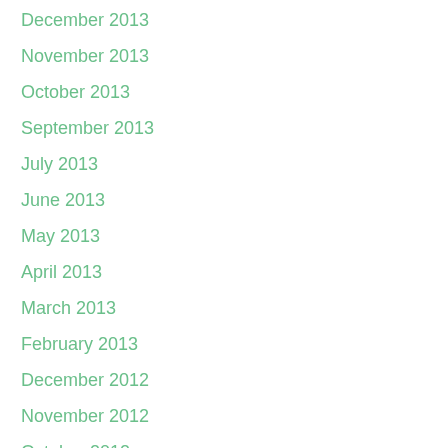December 2013
November 2013
October 2013
September 2013
July 2013
June 2013
May 2013
April 2013
March 2013
February 2013
December 2012
November 2012
October 2012
September 2012
July 2012
June 2012
May 2012